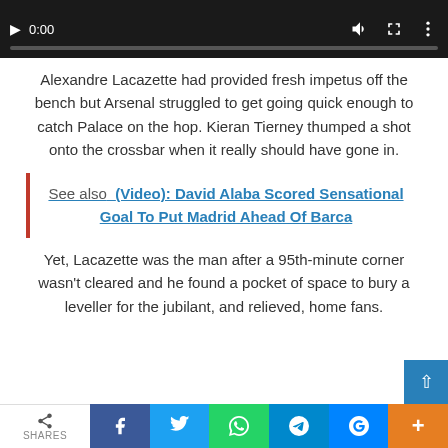[Figure (screenshot): Video player bar showing 0:00 timestamp with play button, mute icon, fullscreen icon, and more options icon. Progress bar at bottom.]
Alexandre Lacazette had provided fresh impetus off the bench but Arsenal struggled to get going quick enough to catch Palace on the hop. Kieran Tierney thumped a shot onto the crossbar when it really should have gone in.
See also  (Video): David Alaba Scored Sensational Goal To Put Madrid Ahead Of Barca
Yet, Lacazette was the man after a 95th-minute corner wasn't cleared and he found a pocket of space to bury a leveller for the jubilant, and relieved, home fans.
[Figure (screenshot): Social sharing bar at bottom with share icon and SHARES label, followed by Facebook, Twitter, WhatsApp, Telegram, Messenger, and plus/more buttons.]